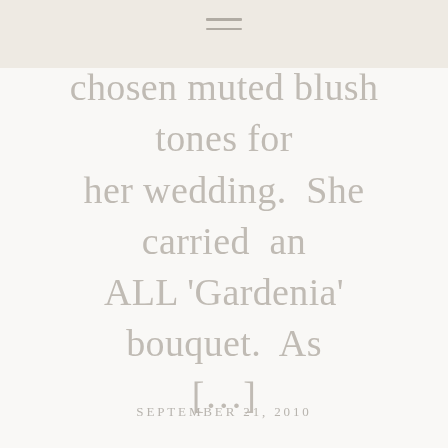≡
chosen muted blush tones for her wedding.  She carried  an ALL 'Gardenia' bouquet.  As [...]
SEPTEMBER 21, 2010